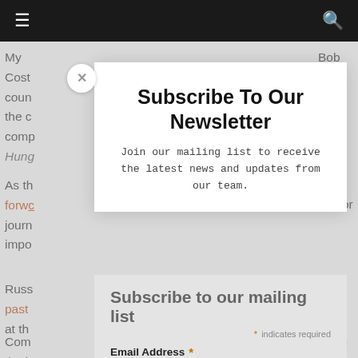Navigation bar with menu and search icons
My ... Bob
Cost... m
coun... to
the c... c
comp...
Hung...
Subscribe To Our Newsletter
Join our mailing list to receive the latest news and updates from our team.
As th... forwc... or journ... impo...
Subscribe to our mailing list
* indicates required
Email Address *
Russ...
past...) is
at th...
Com... aking
the h... s,
and i...